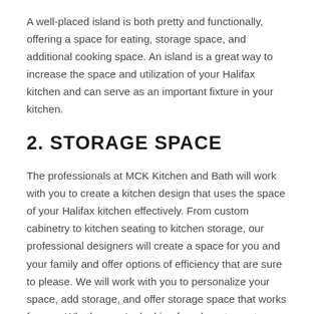A well-placed island is both pretty and functionally, offering a space for eating, storage space, and additional cooking space. An island is a great way to increase the space and utilization of your Halifax kitchen and can serve as an important fixture in your kitchen.
2. STORAGE SPACE
The professionals at MCK Kitchen and Bath will work with you to create a kitchen design that uses the space of your Halifax kitchen effectively. From custom cabinetry to kitchen seating to kitchen storage, our professional designers will create a space for you and your family and offer options of efficiency that are sure to please. We will work with you to personalize your space, add storage, and offer storage space that works for you. Whether you're looking for a long-term storage and